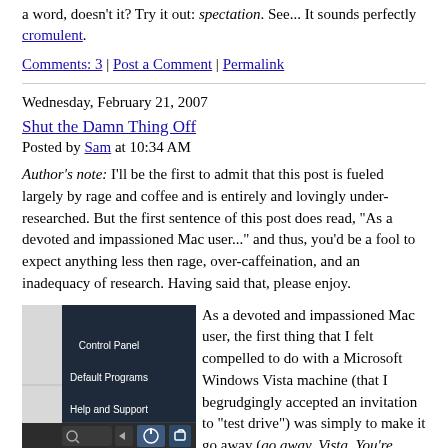a word, doesn't it? Try it out: spectation. See... It sounds perfectly cromulent.
Comments: 3 | Post a Comment | Permalink
Wednesday, February 21, 2007
Shut the Damn Thing Off
Posted by Sam at 10:34 AM
Author's note: I'll be the first to admit that this post is fueled largely by rage and coffee and is entirely and lovingly under-researched. But the first sentence of this post does read, "As a devoted and impassioned Mac user..." and thus, you'd be a fool to expect anything less then rage, over-caffeination, and an inadequacy of research. Having said that, please enjoy.
[Figure (screenshot): Windows Vista Start Menu screenshot showing Control Panel, Default Programs, Help and Support, and taskbar with search, power, and lock buttons]
As a devoted and impassioned Mac user, the first thing that I felt compelled to do with a Microsoft Windows Vista machine (that I begrudgingly accepted an invitation to "test drive") was simply to make it go away (go away, Vista. You're too... shiny). Yeah, I just wanted to turn the